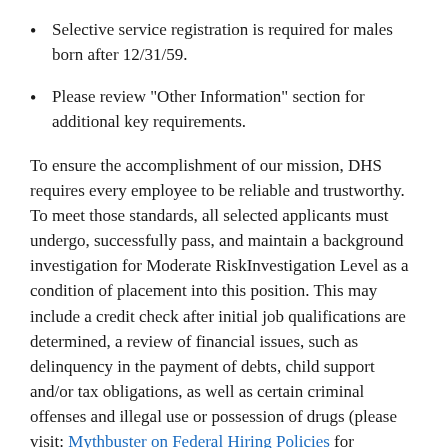Selective service registration is required for males born after 12/31/59.
Please review "Other Information" section for additional key requirements.
To ensure the accomplishment of our mission, DHS requires every employee to be reliable and trustworthy. To meet those standards, all selected applicants must undergo, successfully pass, and maintain a background investigation for Moderate RiskInvestigation Level as a condition of placement into this position. This may include a credit check after initial job qualifications are determined, a review of financial issues, such as delinquency in the payment of debts, child support and/or tax obligations, as well as certain criminal offenses and illegal use or possession of drugs (please visit: Mythbuster on Federal Hiring Policies for